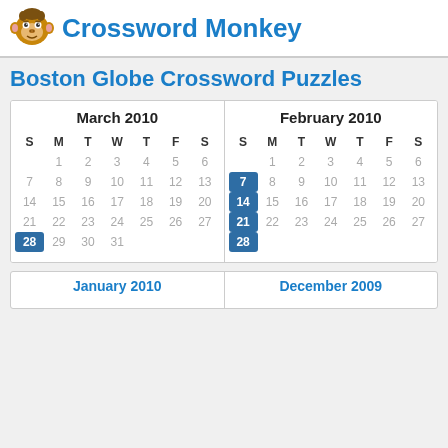Crossword Monkey
Boston Globe Crossword Puzzles
| S | M | T | W | T | F | S |
| --- | --- | --- | --- | --- | --- | --- |
|  | 1 | 2 | 3 | 4 | 5 | 6 |
| 7 | 8 | 9 | 10 | 11 | 12 | 13 |
| 14 | 15 | 16 | 17 | 18 | 19 | 20 |
| 21 | 22 | 23 | 24 | 25 | 26 | 27 |
| 28 | 29 | 30 | 31 |  |  |  |
| S | M | T | W | T | F | S |
| --- | --- | --- | --- | --- | --- | --- |
|  | 1 | 2 | 3 | 4 | 5 | 6 |
| 7 | 8 | 9 | 10 | 11 | 12 | 13 |
| 14 | 15 | 16 | 17 | 18 | 19 | 20 |
| 21 | 22 | 23 | 24 | 25 | 26 | 27 |
| 28 |  |  |  |  |  |  |